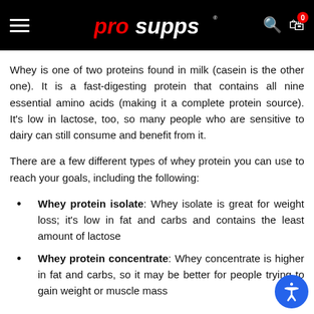PRO SUPPS
Whey is one of two proteins found in milk (casein is the other one). It is a fast-digesting protein that contains all nine essential amino acids (making it a complete protein source). It's low in lactose, too, so many people who are sensitive to dairy can still consume and benefit from it.
There are a few different types of whey protein you can use to reach your goals, including the following:
Whey protein isolate: Whey isolate is great for weight loss; it's low in fat and carbs and contains the least amount of lactose
Whey protein concentrate: Whey concentrate is higher in fat and carbs, so it may be better for people trying to gain weight or muscle mass